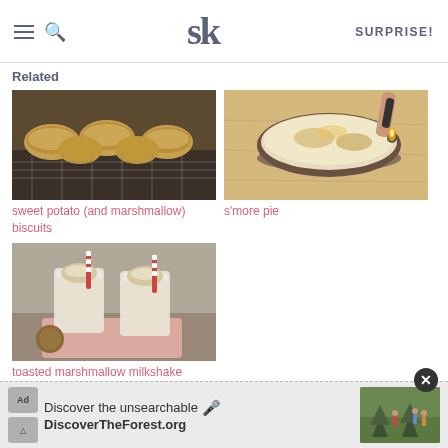SK logo | SURPRISE!
Related
[Figure (photo): Sweet potato and marshmallow biscuits on a cooling rack]
sweet potato (and marshmallow) biscuits
[Figure (photo): S'more pie being torched with a kitchen torch on a wooden surface]
s'more pie
[Figure (photo): Two toasted marshmallow milkshakes with striped straws on a pink cloth]
toasted marshmallow milkshake
[Figure (screenshot): Advertisement banner: Discover the unsearchable - DiscoverTheForest.org with forest hikers photo]